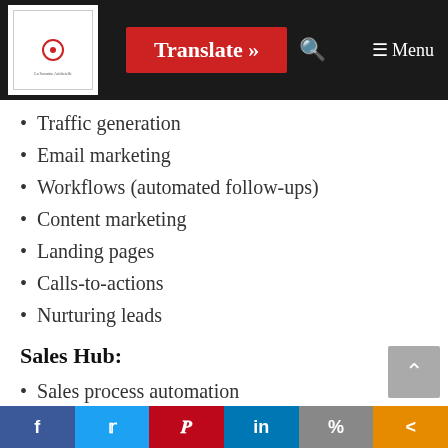Translate » Menu
Traffic generation
Email marketing
Workflows (automated follow-ups)
Content marketing
Landing pages
Calls-to-actions
Nurturing leads
Sales Hub:
Sales process automation
Streamlined outreach
Email tracking and notifications
f  t  p  in  %  <